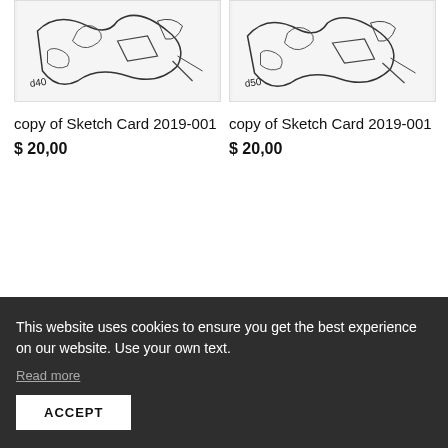[Figure (illustration): Sketch card artwork showing a figure/character drawing with handwritten notation '40']
copy of Sketch Card 2019-001
$ 20,00
[Figure (illustration): Sketch card artwork showing a figure/character drawing with handwritten notation '50']
copy of Sketch Card 2019-001
$ 20,00
This website uses cookies to ensure you get the best experience on our website. Use your own text.
ACCEPT